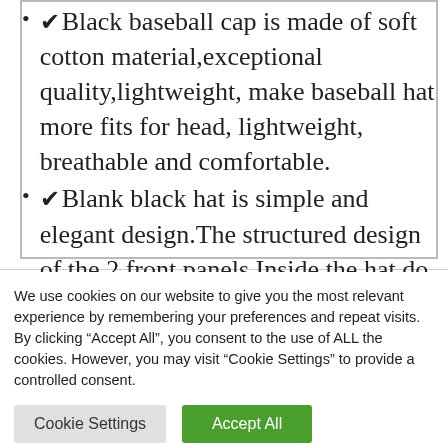✔Black baseball cap is made of soft cotton material,exceptional quality,lightweight, make baseball hat more fits for head, lightweight, breathable and comfortable.
✔Blank black hat is simple and elegant design.The structured design of the 2 front panels,Inside the hat do lining coating process,
We use cookies on our website to give you the most relevant experience by remembering your preferences and repeat visits. By clicking "Accept All", you consent to the use of ALL the cookies. However, you may visit "Cookie Settings" to provide a controlled consent.